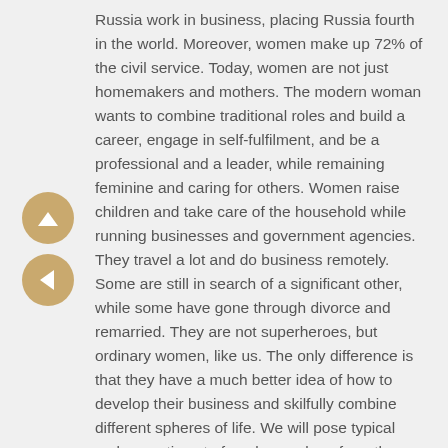Russia work in business, placing Russia fourth in the world. Moreover, women make up 72% of the civil service. Today, women are not just homemakers and mothers. The modern woman wants to combine traditional roles and build a career, engage in self-fulfilment, and be a professional and a leader, while remaining feminine and caring for others. Women raise children and take care of the household while running businesses and government agencies. They travel a lot and do business remotely. Some are still in search of a significant other, while some have gone through divorce and remarried. They are not superheroes, but ordinary women, like us. The only difference is that they have a much better idea of how to develop their business and skilfully combine different spheres of life. We will pose typical male questions to female speakers from the business world and business support infrastructure and reveal the secrets of how they manage to successfully engage in self-fulfilment while harmoniously combining